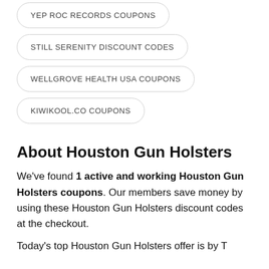YEP ROC RECORDS COUPONS
STILL SERENITY DISCOUNT CODES
WELLGROVE HEALTH USA COUPONS
KIWIKOOL.CO COUPONS
About Houston Gun Holsters
We've found 1 active and working Houston Gun Holsters coupons. Our members save money by using these Houston Gun Holsters discount codes at the checkout.
Today's top Houston Gun Holsters offer is by T